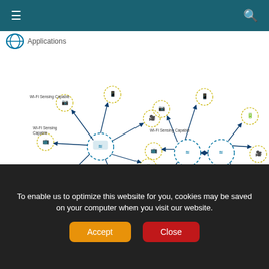Navigation bar with menu and search icons
[Figure (network-graph): Two Wi-Fi sensing network diagrams side by side. Left diagram shows a central router (Wi-Fi Sensing Capable) connected with arrows to multiple devices including a tablet, camera, TV, phone, and two nodes labeled Wi-Fi Sensing Capable. Right diagram shows a similar network with two interconnected routers (Wi-Fi Sensing Capable) connected to multiple devices. A legend at the bottom shows: double-headed arrow = Wi-Fi link used for sensing, single-headed arrow = Wi-Fi link NOT used for sensing.]
Wi-Fi Sensing is a technology that uses Wi-Fi signals to operate like a short-range passive radar by measuring how
To enable us to optimize this website for you, cookies may be saved on your computer when you visit our website.